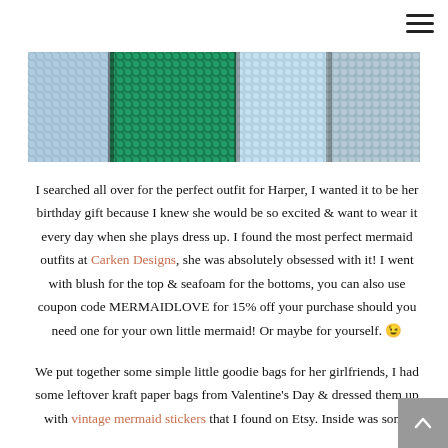[Figure (photo): Photo of sequined mermaid outfit fabrics laid on a dark wooden surface. Shows light blue, teal/green, light blue, and silver sequin fabrics.]
I searched all over for the perfect outfit for Harper, I wanted it to be her birthday gift because I knew she would be so excited & want to wear it every day when she plays dress up. I found the most perfect mermaid outfits at Carken Designs, she was absolutely obsessed with it! I went with blush for the top & seafoam for the bottoms, you can also use coupon code MERMAIDLOVE for 15% off your purchase should you need one for your own little mermaid! Or maybe for yourself. 😉
We put together some simple little goodie bags for her girlfriends, I had some leftover kraft paper bags from Valentine's Day & dressed them up with vintage mermaid stickers that I found on Etsy. Inside was some